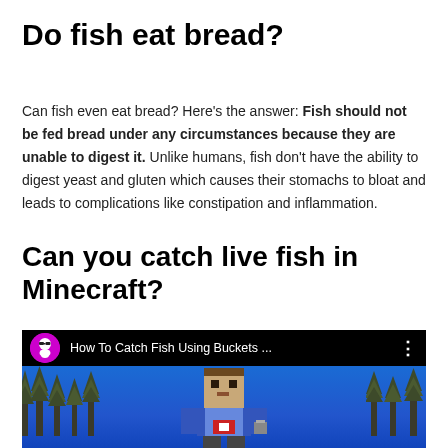Do fish eat bread?
Can fish even eat bread? Here's the answer: Fish should not be fed bread under any circumstances because they are unable to digest it. Unlike humans, fish don't have the ability to digest yeast and gluten which causes their stomachs to bloat and leads to complications like constipation and inflammation.
Can you catch live fish in Minecraft?
[Figure (screenshot): YouTube video thumbnail showing 'How To Catch Fish Using Buckets ...' with a Minecraft character holding a bucket, surrounded by pixel-art trees on a blue background. A pink/magenta circular avatar with a bearded character icon is shown in the top-left of the video header bar.]